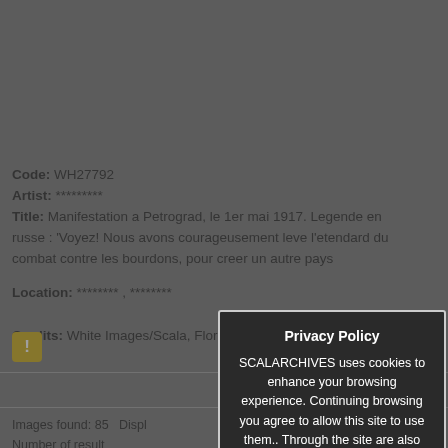Code: WH27792
Artist: *********
Title: Manifestation a Petrograd, le 1er mai 1917. Legende en russe : 'Voyez! Nous avons courageusement leve l'etendard du combat contre les bourdons, pour creer un autre pays
Location: ******** , ********
Credits: White Images/Scala, Florence
[Figure (screenshot): Warning/alert icon — yellow square with exclamation mark]
Images found: 85   Displaying  1-4
Number of results per page:
[Figure (screenshot): Privacy Policy modal overlay: 'Privacy Policy — SCALARCHIVES uses cookies to enhance your browsing experience. Continuing browsing you agree to allow this site to use them.. Through the site are also installed third-party cookies (technical and profiling).']